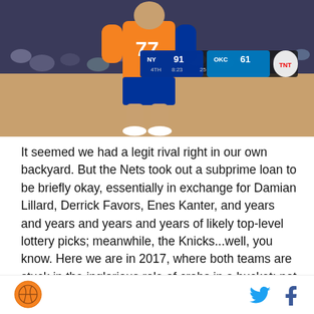[Figure (screenshot): NBA basketball game screenshot showing player #77 in New York Knicks uniform. Scorebug shows NY 91, OKC 61, 4th quarter.]
It seemed we had a legit rival right in our own backyard. But the Nets took out a subprime loan to be briefly okay, essentially in exchange for Damian Lillard, Derrick Favors, Enes Kanter, and years and years and years and years of likely top-level lottery picks; meanwhile, the Knicks...well, you know. Here we are in 2017, where both teams are stuck in the inglorious role of crabs in a bucket: not going anywhere and clutching and grabbing to keep anyone else from rising up. This is the blueprint for meh.
SB Nation logo, Twitter icon, Facebook icon